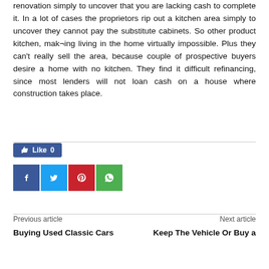renovation simply to uncover that you are lacking cash to complete it. In a lot of cases the proprietors rip out a kitchen area simply to uncover they cannot pay the substitute cabinets. So other product kitchen, mak¬ing living in the home virtually impossible. Plus they can't really sell the area, because couple of prospective buyers desire a home with no kitchen. They find it difficult refinancing, since most lenders will not loan cash on a house where construction takes place.
[Figure (other): Social sharing buttons: Facebook Like button showing 0 likes, and four icon buttons for Facebook, Twitter, Pinterest, and WhatsApp]
Previous article
Buying Used Classic Cars
Next article
Keep The Vehicle Or Buy a